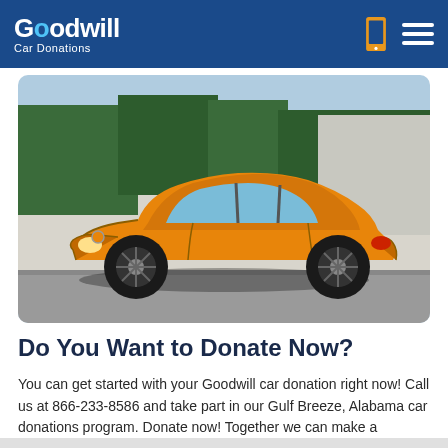Goodwill Car Donations
[Figure (photo): Orange vintage Volkswagen Beetle car parked on a street with green hedges in the background]
Do You Want to Donate Now?
You can get started with your Goodwill car donation right now! Call us at 866-233-8586 and take part in our Gulf Breeze, Alabama car donations program. Donate now! Together we can make a difference!